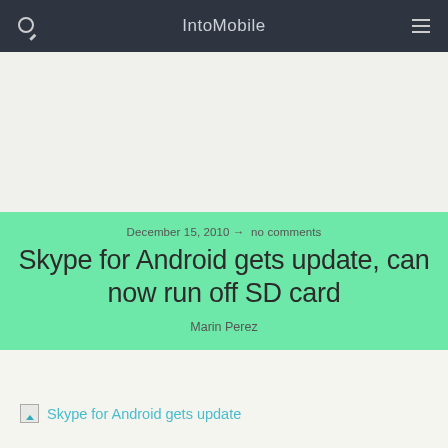IntoMobile
December 15, 2010 → no comments
Skype for Android gets update, can now run off SD card
Marin Perez
[Figure (illustration): Broken image placeholder icon followed by link text: Skype for Android gets update]